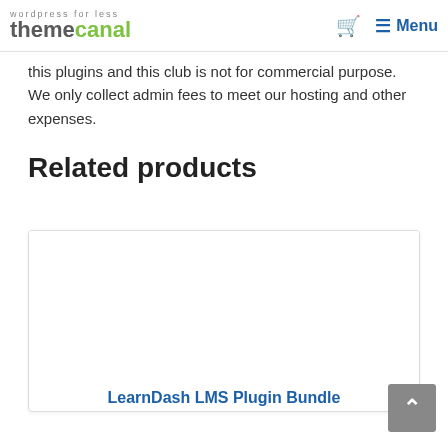themecanal — wordpress for less | Cart | Menu
this plugins and this club is not for commercial purpose. We only collect admin fees to meet our hosting and other expenses.
Related products
[Figure (other): Product card with blank image area for LearnDash LMS Plugin Bundle]
LearnDash LMS Plugin Bundle